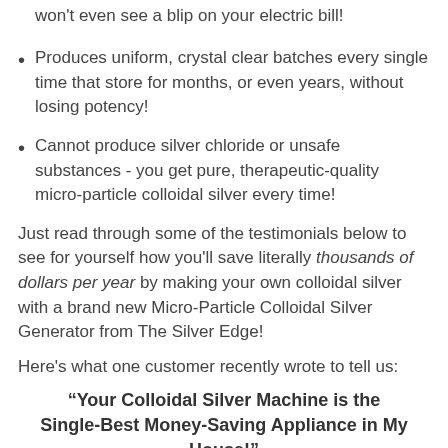won't even see a blip on your electric bill!
Produces uniform, crystal clear batches every single time that store for months, or even years, without losing potency!
Cannot produce silver chloride or unsafe substances - you get pure, therapeutic-quality micro-particle colloidal silver every time!
Just read through some of the testimonials below to see for yourself how you'll save literally thousands of dollars per year by making your own colloidal silver with a brand new Micro-Particle Colloidal Silver Generator from The Silver Edge!
Here's what one customer recently wrote to tell us:
“Your Colloidal Silver Machine is the Single-Best Money-Saving Appliance in My House!”
"Owning a Micro-Particle Colloidal Silver Generator from The Silver Edge has given us the luxury of being able to use